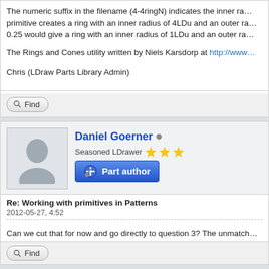The numeric suffix in the filename (4-4ringN) indicates the inner ra... primitive creates a ring with an inner radius of 4LDu and an outer ra... 0.25 would give a ring with an inner radius of 1LDu and an outer ra...
The Rings and Cones utility written by Niels Karsdorp at http://www...
Chris (LDraw Parts Library Admin)
[Figure (screenshot): Find button with magnifying glass icon]
Daniel Goerner
Seasoned LDrawer
[Figure (screenshot): Part author badge button]
Re: Working with primitives in Patterns
2012-05-27, 4:52
Can we cut that for now and go directly to question 3? The unmatch...
[Figure (screenshot): Find button with magnifying glass icon]